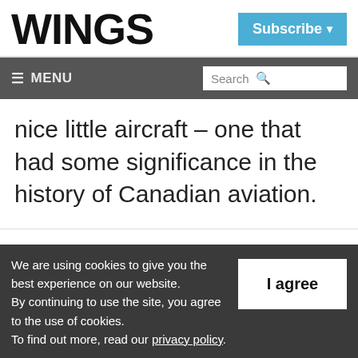WINGS
Subscribe
≡ MENU  Search
nice little aircraft – one that had some significance in the history of Canadian aviation.
November 3, 2011  By Stacy Bradshaw
We are using cookies to give you the best experience on our website. By continuing to use the site, you agree to the use of cookies. To find out more, read our privacy policy.